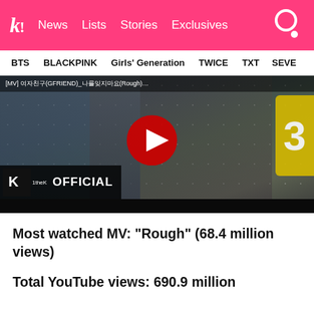K! News  Lists  Stories  Exclusives
BTS  BLACKPINK  Girls' Generation  TWICE  TXT  SEVE
[Figure (screenshot): YouTube music video thumbnail for GFriend 'Rough' showing a girl in school uniform with 1theK Official branding and a red play button overlay]
Most watched MV: “Rough” (68.4 million views)
Total YouTube views: 690.9 million